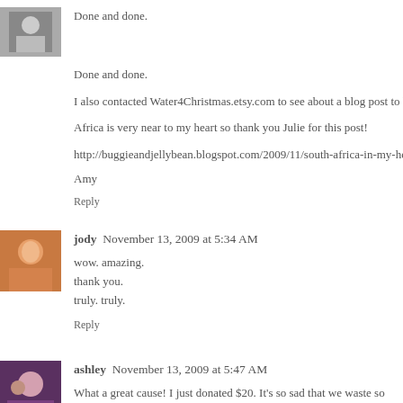[Figure (photo): Small avatar photo of Amy - black and white image of a person]
Done and done.
I also contacted Water4Christmas.etsy.com to see about a blog post to help pro...
Africa is very near to my heart so thank you Julie for this post!
http://buggieandjellybean.blogspot.com/2009/11/south-africa-in-my-heart-on-m...
Amy
Reply
[Figure (photo): Small avatar photo of jody - woman with orange/warm tones]
jody  November 13, 2009 at 5:34 AM
wow. amazing.
thank you.
truly. truly.
Reply
[Figure (photo): Small avatar photo of ashley - group photo]
ashley  November 13, 2009 at 5:47 AM
What a great cause! I just donated $20. It's so sad that we waste so much wat... pictures for my blog. Thanks!!